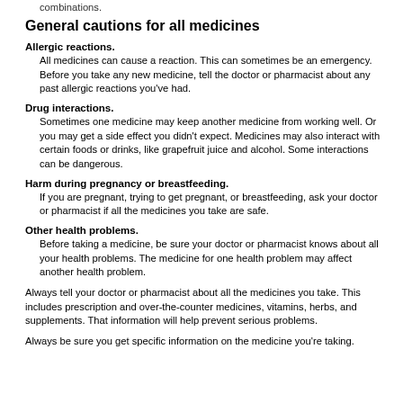combinations.
General cautions for all medicines
Allergic reactions. All medicines can cause a reaction. This can sometimes be an emergency. Before you take any new medicine, tell the doctor or pharmacist about any past allergic reactions you've had.
Drug interactions. Sometimes one medicine may keep another medicine from working well. Or you may get a side effect you didn't expect. Medicines may also interact with certain foods or drinks, like grapefruit juice and alcohol. Some interactions can be dangerous.
Harm during pregnancy or breastfeeding. If you are pregnant, trying to get pregnant, or breastfeeding, ask your doctor or pharmacist if all the medicines you take are safe.
Other health problems. Before taking a medicine, be sure your doctor or pharmacist knows about all your health problems. The medicine for one health problem may affect another health problem.
Always tell your doctor or pharmacist about all the medicines you take. This includes prescription and over-the-counter medicines, vitamins, herbs, and supplements. That information will help prevent serious problems.
Always be sure you get specific information on the medicine you're taking.